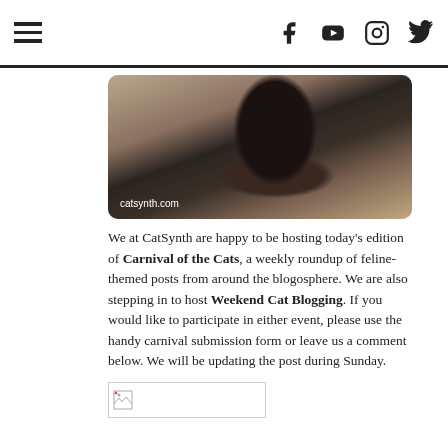Navigation and social icons header
[Figure (photo): A black cat viewed from above sitting on a patterned rug or carpet. Watermark reads 'catsynth.com']
We at CatSynth are happy to be hosting today's edition of Carnival of the Cats, a weekly roundup of feline-themed posts from around the blogosphere.  We are also stepping in to host Weekend Cat Blogging.  If you would like to participate in either event, please use the handy carnival submission form or leave us a comment below.  We will be updating the post during Sunday.
[Figure (illustration): Broken image placeholder]